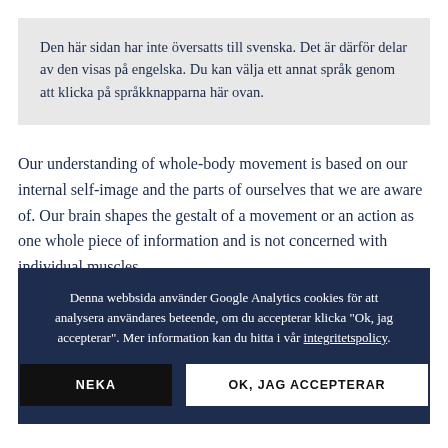Den här sidan har inte översatts till svenska. Det är därför delar av den visas på engelska. Du kan välja ett annat språk genom att klicka på språkknapparna här ovan.
Our understanding of whole-body movement is based on our internal self-image and the parts of ourselves that we are aware of. Our brain shapes the gestalt of a movement or an action as one whole piece of information and is not concerned with individual muscles.
Denna webbsida använder Google Analytics cookies för att analysera användares beteende, om du accepterar klicka "Ok, jag accepterar". Mer information kan du hitta i vår integritetspolicy.
techniques have results that aiming to feel neural pathways along the length of the body can provide an integrative and